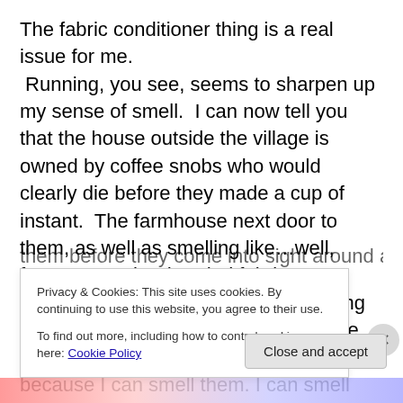The fabric conditioner thing is a real issue for me.  Running, you see, seems to sharpen up my sense of smell.  I can now tell you that the house outside the village is owned by coffee snobs who would clearly die before they made a cup of instant.  The farmhouse next door to them, as well as smelling like…well, farms, uses the dreaded fabric conditioner–I can tell when the washing is on the line, and when they are in the garden, despite a six foot hedge, because I can smell them. I can smell women in cars as they drive past, too, and in town, I can smell them before they come into sight around a corner, or in the
Privacy & Cookies: This site uses cookies. By continuing to use this website, you agree to their use.
To find out more, including how to control cookies, see here: Cookie Policy
Close and accept